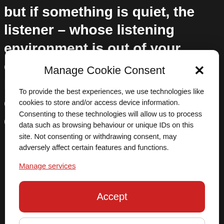but if something is quiet, the listener – whose listening environment is out of your control – might not be able to hear it, so you've got to be constantly balancing your desired
Manage Cookie Consent
To provide the best experiences, we use technologies like cookies to store and/or access device information. Consenting to these technologies will allow us to process data such as browsing behaviour or unique IDs on this site. Not consenting or withdrawing consent, may adversely affect certain features and functions.
Manage services
Accept
Deny
View preferences
Cookie Policy   Privacy Policy